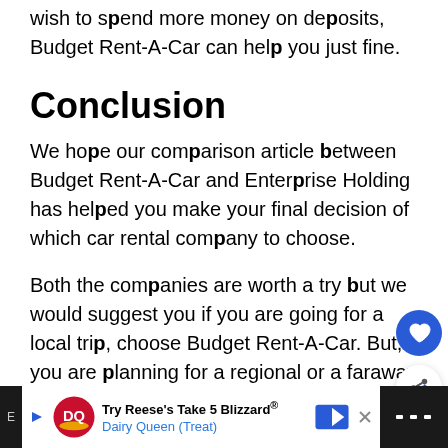wish to spend more money on deposits, Budget Rent-A-Car can help you just fine.
Conclusion
We hope our comparison article between Budget Rent-A-Car and Enterprise Holding has helped you make your final decision of which car rental company to choose.
Both the companies are worth a try but we would suggest you if you are going for a local trip, choose Budget Rent-A-Car. But, if you are planning for a regional or a faraway trip,
[Figure (other): Floating heart button (blue circle with heart icon) and share button (white circle with share icon)]
[Figure (other): Bottom advertisement bar: Dairy Queen ad 'Try Reese's Take 5 Blizzard® Dairy Queen (Treat)' with DQ logo and blue arrow icon, alongside dark right panel with dots icon]